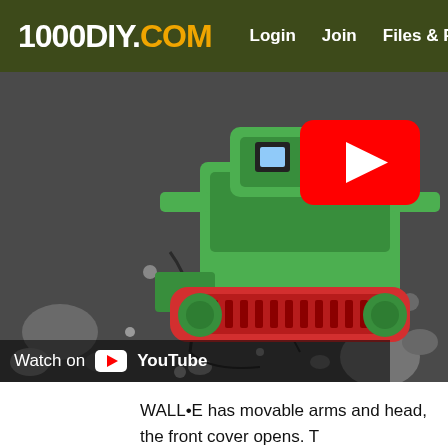1000DIY.COM  Login  Join  Files & Plan
[Figure (screenshot): Screenshot of a YouTube video thumbnail showing a 3D-printed green WALL-E toy with red tracks on rocky asphalt ground, with a red YouTube play button overlay and 'Watch on YouTube' bar at bottom.]
WALL•E has movable arms and head, the front cover opens. T... glued. WALL•E also has a shoe and a growing plant.
If you do not have a 3D printer, then the toy can be glued out o... dad can handle within an hour.